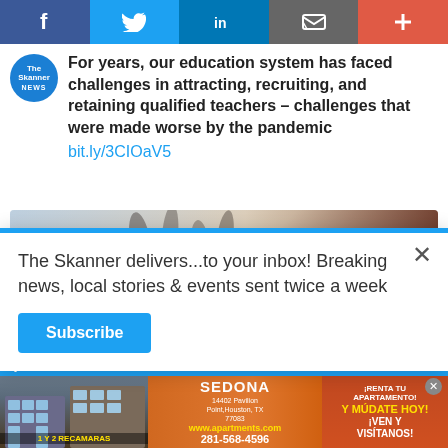[Figure (screenshot): Social media sharing bar with Facebook, Twitter, LinkedIn, email, and plus buttons]
[Figure (screenshot): The Skanner News logo avatar (blue circle)]
For years, our education system has faced challenges in attracting, recruiting, and retaining qualified teachers – challenges that were made worse by the pandemic
bit.ly/3CIOaV5
[Figure (photo): Students in a classroom raising their hands]
The Skanner delivers...to your inbox! Breaking news, local stories & events sent twice a week
Subscribe
[Figure (photo): Sedona Apartments advertisement: building photo with text 'SEDONA', address '14402 Pavilion Point, Houston, TX 77083', website 'www.apartments.com', phone '281-568-4596', Spanish text '¡RENTA TU APARTAMENTO!' 'Y MÚDATE HOY!' '¡VEN Y VISÍTANOS!', '1 Y 2 RECAMARAS']